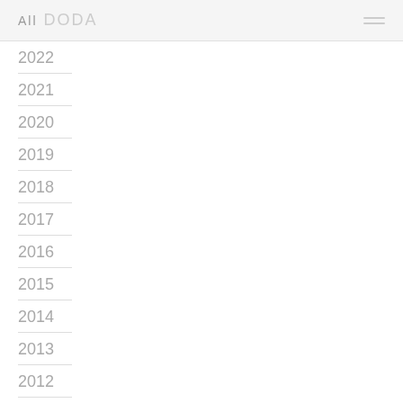All DODA
2022
2021
2020
2019
2018
2017
2016
2015
2014
2013
2012